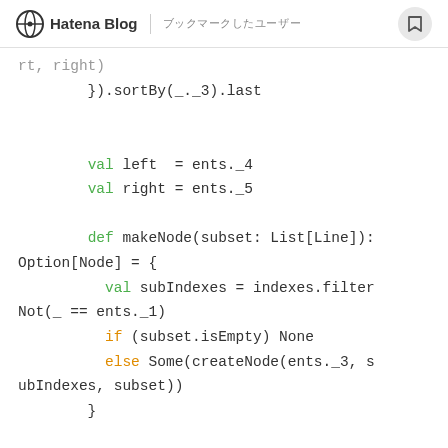Hatena Blog | [navigation text]
Code snippet in Scala showing sortBy, val left, val right, def makeNode, val subIndexes, if/else logic